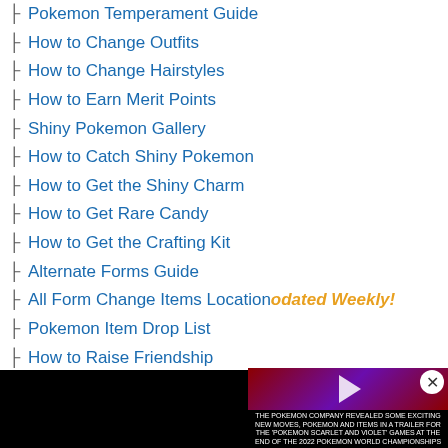Pokemon Temperament Guide
How to Change Outfits
How to Change Hairstyles
How to Earn Merit Points
Shiny Pokemon Gallery
How to Catch Shiny Pokemon
How to Get the Shiny Charm
How to Get Rare Candy
How to Get the Crafting Kit
Alternate Forms Guide
All Form Change Items Locations
Pokemon Item Drop List
How to Raise Friendship
How to Get the Reveal Glass
All Strategy Guides
[Figure (screenshot): Advertisement overlay showing 'Most Popular Products Updated Weekly!' on orange background with product icons]
[Figure (screenshot): Pokemon Scarlet and Violet video player showing game trailer with play button overlay]